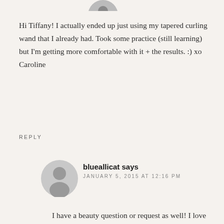[Figure (photo): Partial circular avatar photo of a person, cropped at top of page]
Hi Tiffany! I actually ended up just using my tapered curling wand that I already had. Took some practice (still learning) but I'm getting more comfortable with it + the results. :) xo Caroline
REPLY
[Figure (illustration): Gray circular avatar placeholder icon with silhouette of a person]
blueallicat says
JANUARY 5, 2015 AT 12:16 PM
I have a beauty question or request as well! I love everything about this look! I have started experimenting with my makeup more and would love to know how your accomplished your eye look.